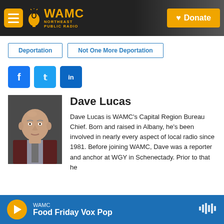WAMC Northeast Public Radio — Donate
Deportation
Not One More Deportation
[Figure (screenshot): Social media share icons: Facebook, Twitter, LinkedIn]
[Figure (photo): Headshot photo of Dave Lucas, a bald man in a suit jacket]
Dave Lucas
Dave Lucas is WAMC's Capital Region Bureau Chief. Born and raised in Albany, he's been involved in nearly every aspect of local radio since 1981. Before joining WAMC, Dave was a reporter and anchor at WGY in Schenectady. Prior to that he
WAMC — Food Friday Vox Pop